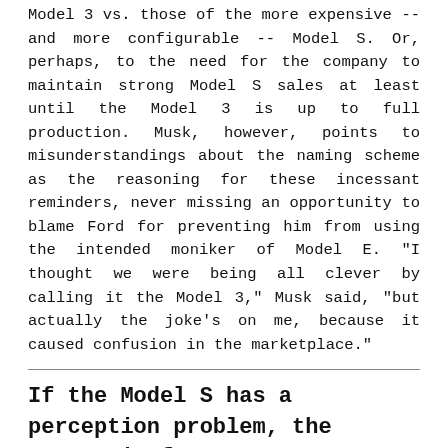Model 3 vs. those of the more expensive -- and more configurable -- Model S. Or, perhaps, to the need for the company to maintain strong Model S sales at least until the Model 3 is up to full production. Musk, however, points to misunderstandings about the naming scheme as the reasoning for these incessant reminders, never missing an opportunity to blame Ford for preventing him from using the intended moniker of Model E. "I thought we were being all clever by calling it the Model 3," Musk said, "but actually the joke's on me, because it caused confusion in the marketplace."
If the Model S has a perception problem, the reason is far more straightforward: it's getting really old.
I don't think the naming has anything to do with it. If the Model S has a perception problem, the reason is